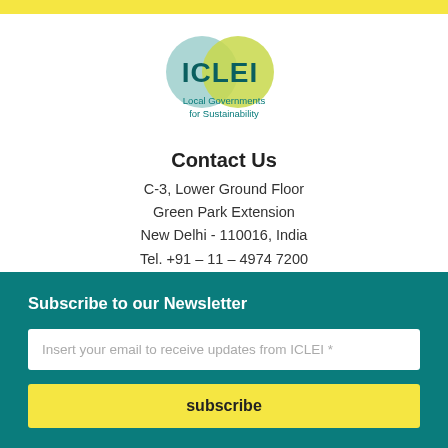[Figure (logo): ICLEI Local Governments for Sustainability logo with overlapping circles in light blue and yellow-green, bold teal ICLEI text]
Contact Us
C-3, Lower Ground Floor
Green Park Extension
New Delhi - 110016, India
Tel. +91 – 11 – 4974 7200
Fax +91 - 11 - 4974 7201
Subscribe to our Newsletter
Insert your email to receive updates from ICLEI *
subscribe